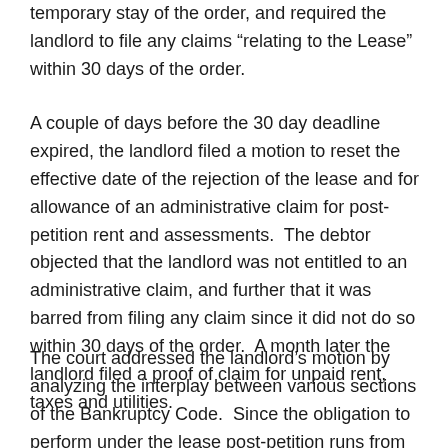temporary stay of the order, and required the landlord to file any claims “relating to the Lease” within 30 days of the order.
A couple of days before the 30 day deadline expired, the landlord filed a motion to reset the effective date of the rejection of the lease and for allowance of an administrative claim for post-petition rent and assessments.  The debtor objected that the landlord was not entitled to an administrative claim, and further that it was barred from filing any claim since it did not do so within 30 days of the order.  A month later the landlord filed a proof of claim for unpaid rent, taxes and utilities.
The court addressed the landlord’s motion by analyzing the interplay between various sections of the Bankruptcy Code.  Since the obligation to perform under the lease post-petition runs from the date of the petition to the date of